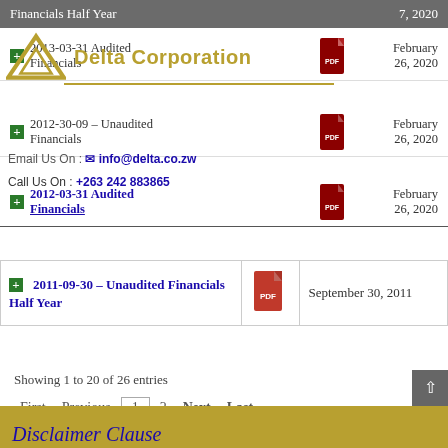Financials Half Year — 7, 2020
[Figure (logo): Delta Corporation logo with triangle icon and gold underline watermark]
Email Us On : info@delta.co.zw   Call Us On : +263 242 883865
2013-03-31 Audited Financials — February 26, 2020
2012-30-09 – Unaudited Financials — February 26, 2020
2012-03-31 Audited Financials — February 26, 2020
| Document | PDF | Date |
| --- | --- | --- |
| 2011-09-30 – Unaudited Financials Half Year | PDF | September 30, 2011 |
Showing 1 to 20 of 26 entries
First  Previous  1  2  Next  Last
Disclaimer Clause